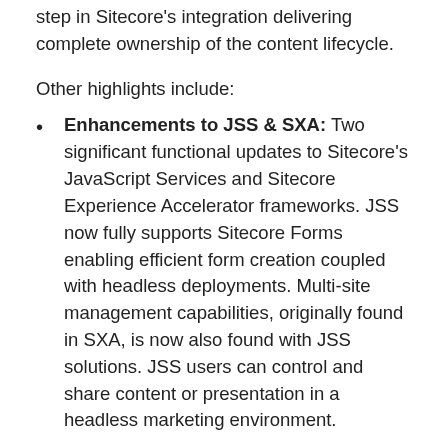step in Sitecore's integration delivering complete ownership of the content lifecycle.
Other highlights include:
Enhancements to JSS & SXA: Two significant functional updates to Sitecore's JavaScript Services and Sitecore Experience Accelerator frameworks. JSS now fully supports Sitecore Forms enabling efficient form creation coupled with headless deployments. Multi-site management capabilities, originally found in SXA, is now also found with JSS solutions. JSS users can control and share content or presentation in a headless marketing environment.
Active Personalization Dashboard: A new optimization feature providing holistic insight into all active personalization tactics within your solution. This new dashboard will provide an overview of all personalization actively occurring. Along with reach and effect metrics, marketing teams can quickly see poorly performing or